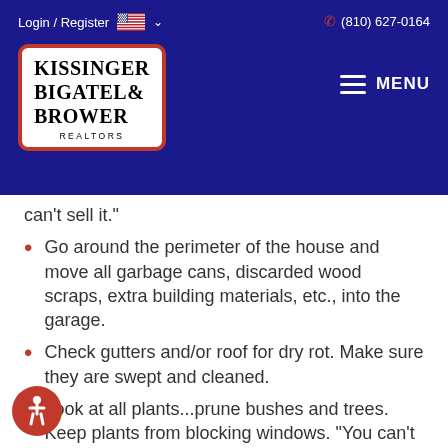Login / Register  (810) 627-0164
[Figure (logo): Kissinger Bigatel & Brower Realtors logo in white box with red border on dark blue navigation bar]
can't sell it."
Go around the perimeter of the house and move all garbage cans, discarded wood scraps, extra building materials, etc., into the garage.
Check gutters and/or roof for dry rot. Make sure they are swept and cleaned.
Look at all plants...prune bushes and trees. Keep plants from blocking windows. "You can't sell a house if you can't see it." Plants are like children- they grow so fast!!